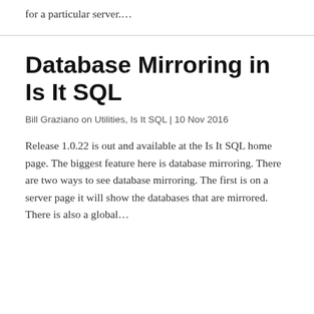for a particular server….
Database Mirroring in Is It SQL
Bill Graziano on Utilities, Is It SQL | 10 Nov 2016
Release 1.0.22 is out and available at the Is It SQL home page. The biggest feature here is database mirroring. There are two ways to see database mirroring. The first is on a server page it will show the databases that are mirrored. There is also a global…